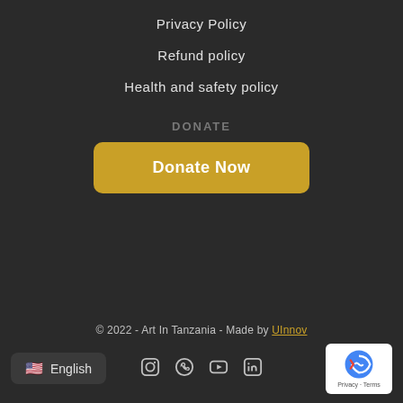Privacy Policy
Refund policy
Health and safety policy
DONATE
Donate Now
© 2022 - Art In Tanzania - Made by UInnov
English · Social icons · reCAPTCHA badge